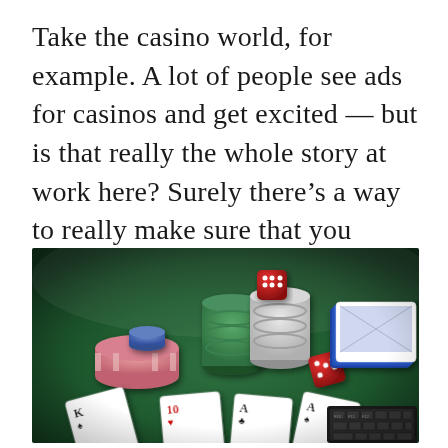Take the casino world, for example. A lot of people see ads for casinos and get excited — but is that really the whole story at work here? Surely there's a way to really make sure that you know what you're getting into when it comes to any casino.
[Figure (photo): Casino items on a green felt table: poker chips (pink, blue, green, white stacks), red dice, playing cards (King, 10 of hearts, Ace of clubs, Ace of spades), and a laptop/keyboard in the background.]